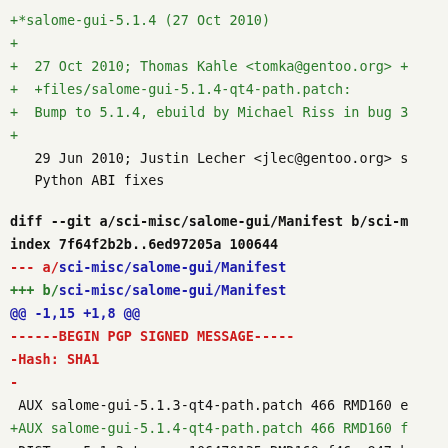+*salome-gui-5.1.4 (27 Oct 2010)
+
+  27 Oct 2010; Thomas Kahle <tomka@gentoo.org> +
+  +files/salome-gui-5.1.4-qt4-path.patch:
+  Bump to 5.1.4, ebuild by Michael Riss in bug 3
+
29 Jun 2010; Justin Lecher <jlec@gentoo.org> s
   Python ABI fixes
diff --git a/sci-misc/salome-gui/Manifest b/sci-m
index 7f64f2b2b..6ed97205a 100644
--- a/sci-misc/salome-gui/Manifest
+++ b/sci-misc/salome-gui/Manifest
@@ -1,15 +1,8 @@
------BEGIN PGP SIGNED MESSAGE-----
-Hash: SHA1
-
 AUX salome-gui-5.1.3-qt4-path.patch 466 RMD160 e
+AUX salome-gui-5.1.4-qt4-path.patch 466 RMD160 f
 DIST src5.1.3.tar.gz 106470135 RMD160 f46ac847ab
+DIST src5.1.4.tar.gz 120063320 RMD160 c309cebcc4